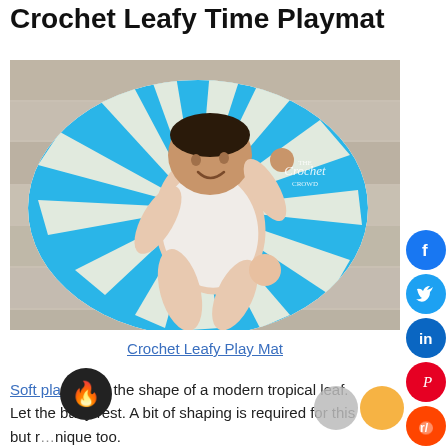Crochet Leafy Time Playmat
[Figure (photo): Baby lying on a round blue and white striped crochet leafy playmat, smiling with arms raised. The mat is on a wooden floor. A watermark reads 'The Crochet Crowd'.]
Crochet Leafy Play Mat
Soft playmat in the shape of a modern tropical leaf. Let the baby rest. A bit of shaping is required for this but r… nique too.